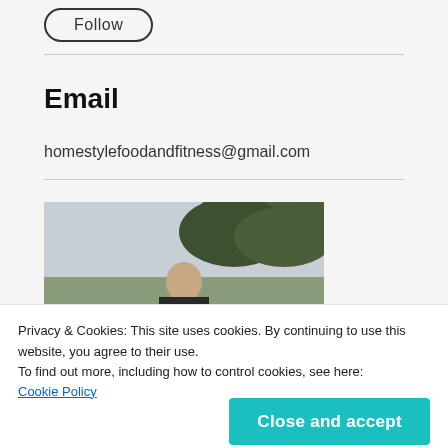Follow
Email
homestylefoodandfitness@gmail.com
[Figure (photo): Partial photo of a person outdoors with trees in background, partially visible]
Privacy & Cookies: This site uses cookies. By continuing to use this website, you agree to their use.
To find out more, including how to control cookies, see here:
Cookie Policy
Close and accept